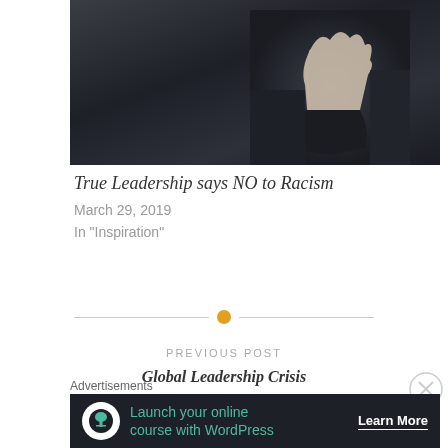[Figure (photo): Dark photograph showing a person in black clothing with a hand raised, suggesting a gesture; dim background with dark tones]
True Leadership says NO to Racism
March 29, 2019
In "Inspiration"
[Figure (other): Horizontal divider line with an orange/amber circle dot in the center]
PREVIOUS POST
Global Leadership Crisis
Advertisements
[Figure (other): Dark advertisement banner: 'Launch your online course with WordPress' with a tree/person icon and 'Learn More' call to action button]